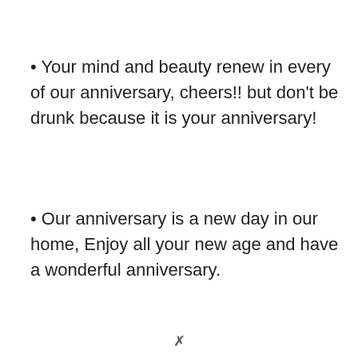• Your mind and beauty renew in every of our anniversary, cheers!! but don't be drunk because it is your anniversary!
• Our anniversary is a new day in our home, Enjoy all your new age and have a wonderful anniversary.